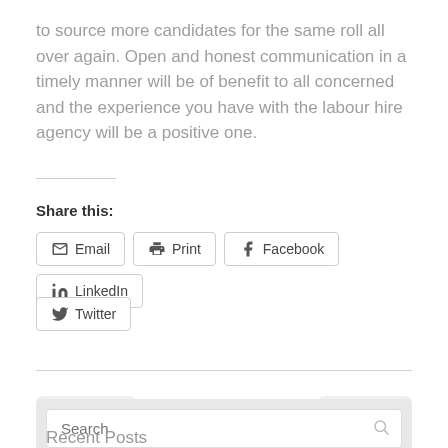to source more candidates for the same roll all over again. Open and honest communication in a timely manner will be of benefit to all concerned and the experience you have with the labour hire agency will be a positive one.
Share this:
Email
Print
Facebook
LinkedIn
Twitter
← Older
Next →
Search
Recent Posts